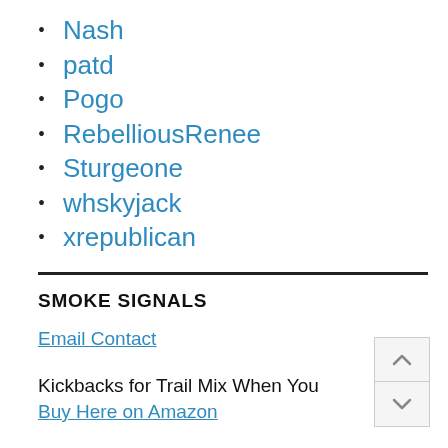Nash
patd
Pogo
RebelliousRenee
Sturgeone
whskyjack
xrepublican
SMOKE SIGNALS
Email Contact
Kickbacks for Trail Mix When You Buy Here on Amazon